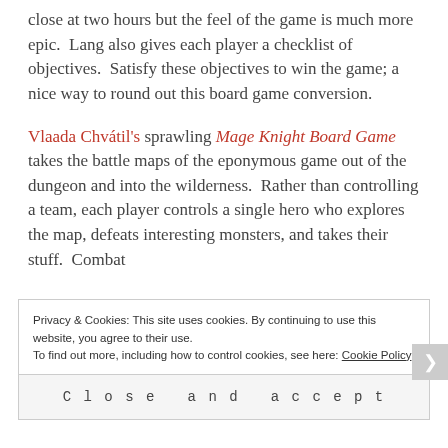close at two hours but the feel of the game is much more epic.  Lang also gives each player a checklist of objectives.  Satisfy these objectives to win the game; a nice way to round out this board game conversion.
Vlaada Chvátil's sprawling Mage Knight Board Game takes the battle maps of the eponymous game out of the dungeon and into the wilderness.  Rather than controlling a team, each player controls a single hero who explores the map, defeats interesting monsters, and takes their stuff.  Combat
Privacy & Cookies: This site uses cookies. By continuing to use this website, you agree to their use.
To find out more, including how to control cookies, see here: Cookie Policy
Close and accept